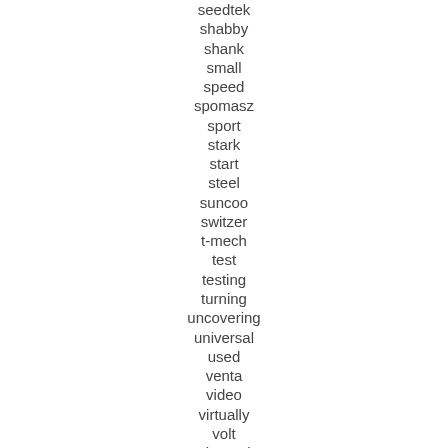seedtek
shabby
shank
small
speed
spomasz
sport
stark
start
steel
suncoo
switzer
t-mech
test
testing
turning
uncovering
universal
used
venta
video
virtually
volt
volumetric
walk
wall